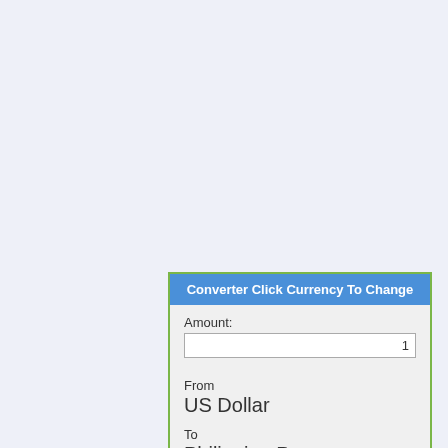Converter Click Currency To Change
Amount: 1
From
US Dollar
To
Philippine Peso
56.225